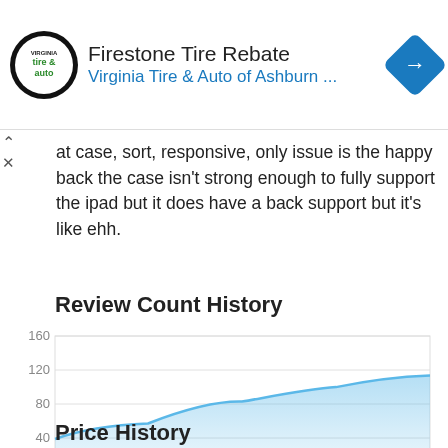[Figure (screenshot): Advertisement banner for Firestone Tire Rebate from Virginia Tire & Auto of Ashburn with logo and directional arrow icon]
at case, sort, responsive, only issue is the happy back the case isn't strong enough to fully support the ipad but it does have a back support but it's like ehh.
Review Count History
[Figure (area-chart): Review Count History]
Price History